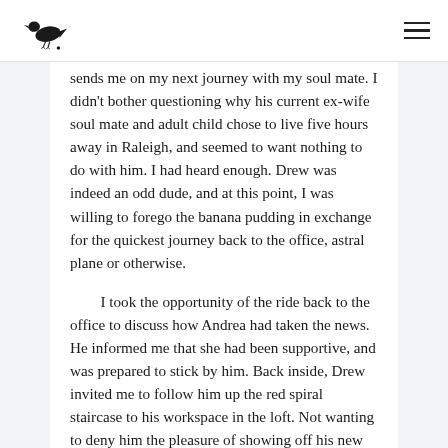[crow logo] [hamburger menu]
sends me on my next journey with my soul mate. I didn't bother questioning why his current ex-wife soul mate and adult child chose to live five hours away in Raleigh, and seemed to want nothing to do with him. I had heard enough. Drew was indeed an odd dude, and at this point, I was willing to forego the banana pudding in exchange for the quickest journey back to the office, astral plane or otherwise.
I took the opportunity of the ride back to the office to discuss how Andrea had taken the news. He informed me that she had been supportive, and was prepared to stick by him. Back inside, Drew invited me to follow him up the red spiral staircase to his workspace in the loft. Not wanting to deny him the pleasure of showing off his new acquaintance, I proceeded